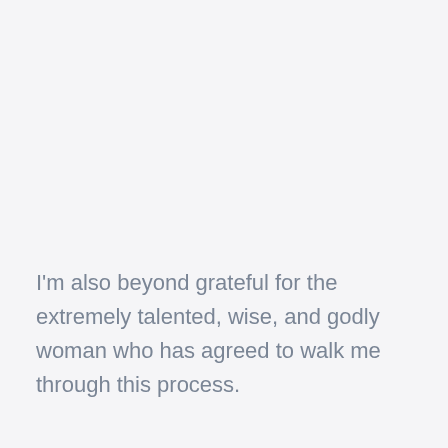I'm also beyond grateful for the extremely talented, wise, and godly woman who has agreed to walk me through this process.